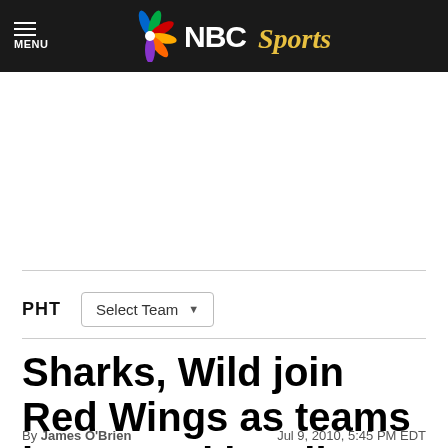NBC Sports
[Figure (logo): NBC Sports logo with peacock icon and 'NBC Sports' text in white and gold on black background]
PHT   Select Team
Sharks, Wild join Red Wings as teams interested in Mike Modano
By James O'Brien   Jul 9, 2010, 5:45 PM EDT